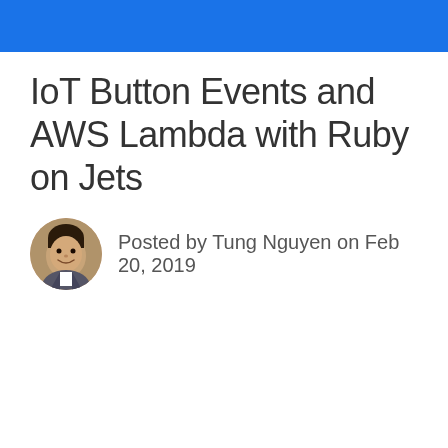IoT Button Events and AWS Lambda with Ruby on Jets
Posted by Tung Nguyen on Feb 20, 2019